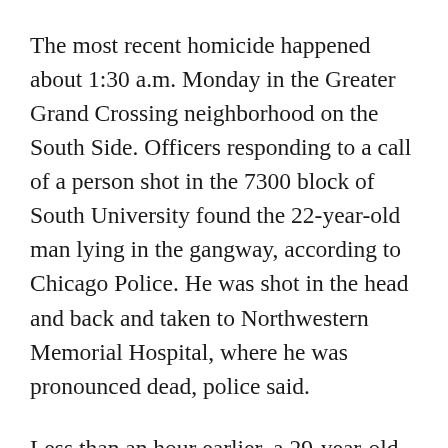The most recent homicide happened about 1:30 a.m. Monday in the Greater Grand Crossing neighborhood on the South Side. Officers responding to a call of a person shot in the 7300 block of South University found the 22-year-old man lying in the gangway, according to Chicago Police. He was shot in the head and back and taken to Northwestern Memorial Hospital, where he was pronounced dead, police said.
Less than an hour earlier, a 29-year-old man was shot in the lower back and chest in Englewood's 1500 block of West 69th Street and taken to